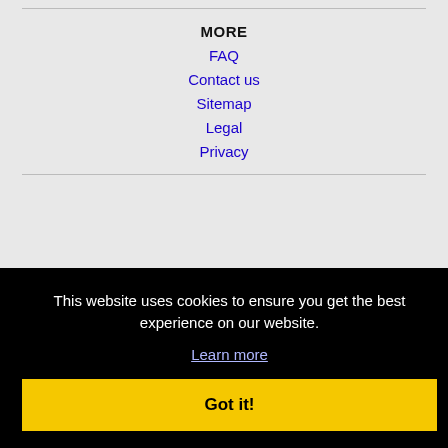MORE
FAQ
Contact us
Sitemap
Legal
Privacy
This website uses cookies to ensure you get the best experience on our website.
Learn more
Got it!
Other Cities · Clients List · About Us · Contact Us · Help